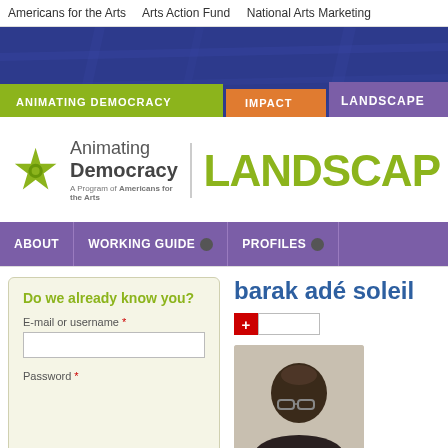Americans for the Arts    Arts Action Fund    National Arts Marketing
[Figure (screenshot): Blue header banner with navigation tabs: ANIMATING DEMOCRACY (green), IMPACT (orange), LANDSCAPE (purple)]
[Figure (logo): Animating Democracy logo with green star and text 'Animating Democracy A Program of Americans for the Arts' plus LANDSCAPE text in green]
ABOUT    WORKING GUIDE    PROFILES
Do we already know you?
E-mail or username *
Password *
barak adé soleil
[Figure (photo): Portrait photo of barak adé soleil, a person wearing glasses]